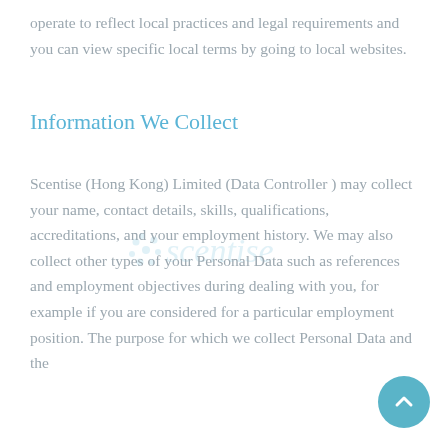operate to reflect local practices and legal requirements and you can view specific local terms by going to local websites.
Information We Collect
[Figure (logo): Scentise logo watermark — circular dots pattern with 'scentise' text in teal/blue]
Scentise (Hong Kong) Limited (Data Controller ) may collect your name, contact details, skills, qualifications, accreditations, and your employment history. We may also collect other types of your Personal Data such as references and employment objectives during dealing with you, for example if you are considered for a particular employment position. The purpose for which we collect Personal Data and the